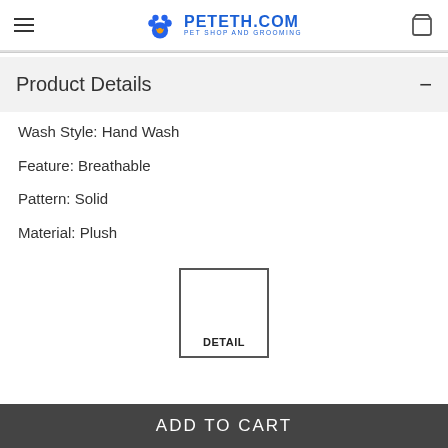PETETH.COM PET SHOP AND GROOMING
Product Details
Wash Style: Hand Wash
Feature: Breathable
Pattern: Solid
Material: Plush
[Figure (other): DETAIL button with empty white square above label text]
ADD TO CART